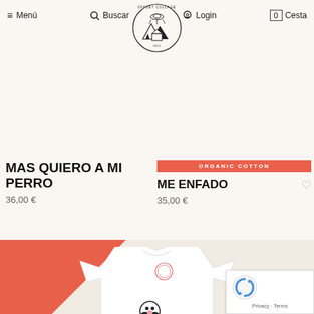≡ Menú   🔍 Buscar   👽 Login   [0] Cesta
[Figure (logo): Offset Collage circular logo with alien/mountain illustration]
MAS QUIERO A MI PERRO
36,00 €
ORGANIC COTTON
ME ENFADO
35,00 €
[Figure (photo): White t-shirt with a small dog illustration (Dalmatian/Beagle style dog graphic) on the front, on a cream background with a red triangle corner badge]
Privacy · Terms